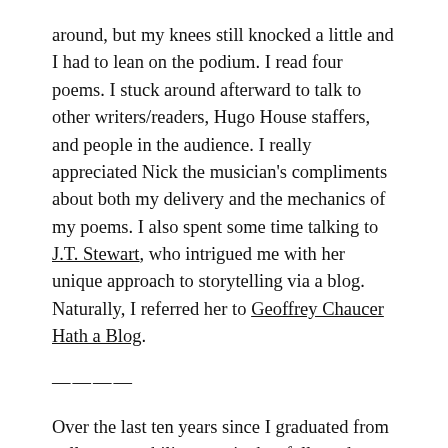around, but my knees still knocked a little and I had to lean on the podium. I read four poems. I stuck around afterward to talk to other writers/readers, Hugo House staffers, and people in the audience. I really appreciated Nick the musician's compliments about both my delivery and the mechanics of my poems. I also spent some time talking to J.T. Stewart, who intrigued me with her unique approach to storytelling via a blog. Naturally, I referred her to Geoffrey Chaucer Hath a Blog.
————
Over the last ten years since I graduated from college, my ability to write has followed a fairly specific pattern: If it's raining, I can write; water seems to be my "triggering town." Whether it's because I'm commuting across Lake Washington every day, it's rained a lot here in Seattle this summer, or a combination of all the focus I've put on my